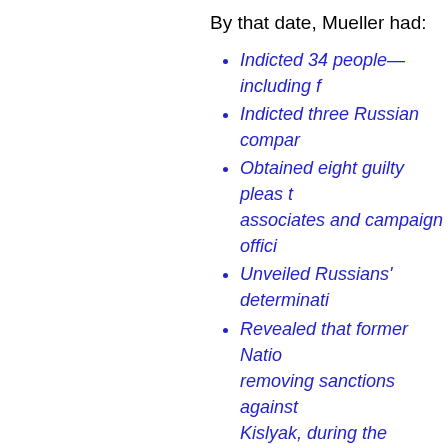By that date, Mueller had:
Indicted 34 people—including f[truncated]
Indicted three Russian compar[truncated]
Obtained eight guilty pleas t[truncated] associates and campaign offici[truncated]
Unveiled Russians' determinati[truncated]
Revealed that former Natio[truncated] removing sanctions against [truncated] Kislyak, during the transition pe[truncated]
Discovered that Trump associ[truncated] the campaign.
On July 24, 2019, Mueller testified[truncated] revealed that Donald Trump, the Pr[truncated]
Sought Russian interference d[truncated]
Benefited from that intervention[truncated]
Concealed his close persona[truncated] public about his hidden attemp[truncated]
Lied to the special prosecutor.
Directed subordinates to falsif[truncated]